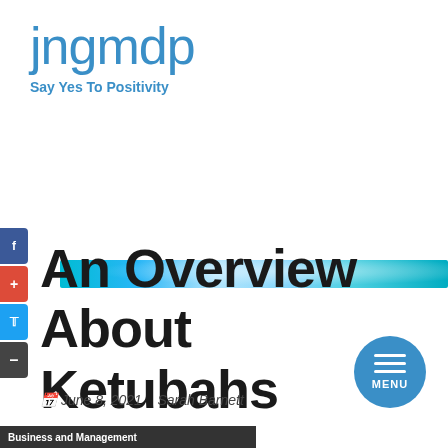jngmdp
Say Yes To Positivity
[Figure (illustration): Decorative banner with aqua/blue bokeh light effects]
An Overview About Ketubahs
June 8, 2021    Sarah Barnett